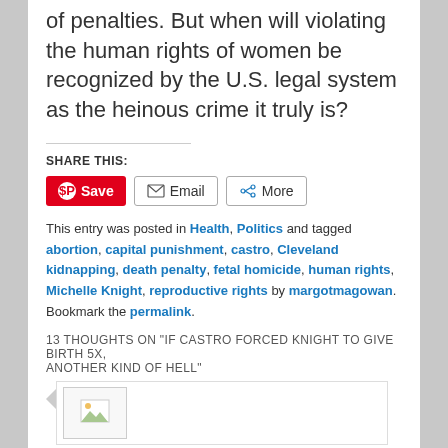of penalties. But when will violating the human rights of women be recognized by the U.S. legal system as the heinous crime it truly is?
SHARE THIS:
[Figure (screenshot): Share buttons: Pinterest Save button (red), Email button (outlined), More button (outlined)]
This entry was posted in Health, Politics and tagged abortion, capital punishment, castro, Cleveland kidnapping, death penalty, fetal homicide, human rights, Michelle Knight, reproductive rights by margotmagowan. Bookmark the permalink.
13 THOUGHTS ON "IF CASTRO FORCED KNIGHT TO GIVE BIRTH 5X, ANOTHER KIND OF HELL"
[Figure (screenshot): Comment section with broken image placeholder]